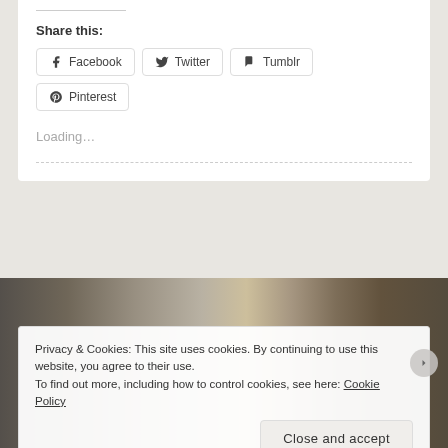Share this:
Facebook  Twitter  Tumblr  Pinterest
Loading...
Privacy & Cookies: This site uses cookies. By continuing to use this website, you agree to their use.
To find out more, including how to control cookies, see here: Cookie Policy
Close and accept